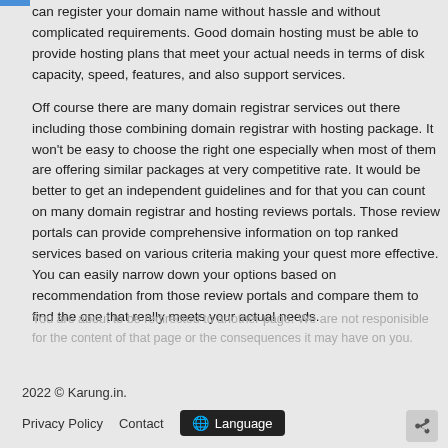can register your domain name without hassle and without complicated requirements. Good domain hosting must be able to provide hosting plans that meet your actual needs in terms of disk capacity, speed, features, and also support services.
Off course there are many domain registrar services out there including those combining domain registrar with hosting package. It won't be easy to choose the right one especially when most of them are offering similar packages at very competitive rate. It would be better to get an independent guidelines and for that you can count on many domain registrar and hosting reviews portals. Those review portals can provide comprehensive information on top ranked services based on various criteria making your quest more effective. You can easily narrow down your options based on recommendation from those review portals and compare them to find the one that really meets your actual needs.
You are about to be redirected to another page. We are not responisible for the content of that page or the consequences it may have on you.
2022 © Karung.in.